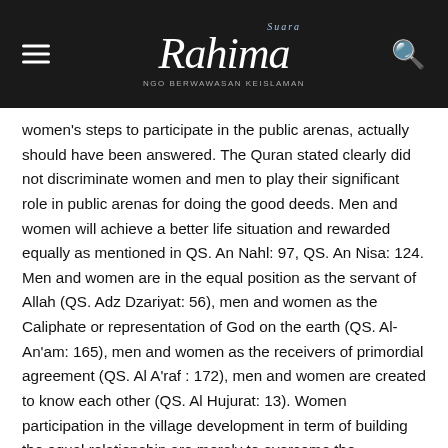Suara Rahima
women's steps to participate in the public arenas, actually should have been answered. The Quran stated clearly did not discriminate women and men to play their significant role in public arenas for doing the good deeds. Men and women will achieve a better life situation and rewarded equally as mentioned in QS. An Nahl: 97, QS. An Nisa: 124. Men and women are in the equal position as the servant of Allah (QS. Adz Dzariyat: 56), men and women as the Caliphate or representation of God on the earth (QS. Al-An'am: 165), men and women as the receivers of primordial agreement (QS. Al A'raf : 172), men and women are created to know each other (QS. Al Hujurat: 13). Women participation in the village development in term of building the equal relationship are merely to overcome the inequalities, in order everybody will live peacefully, in serenity and welfare.